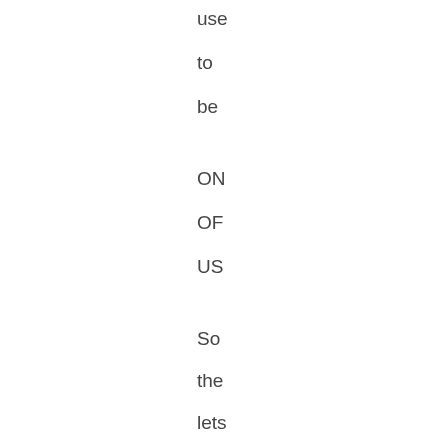use
to
be
ON
OF
US
So
the
lets
mo
fro
the
mo
to
the